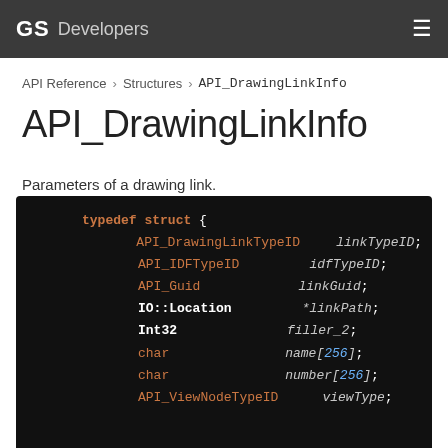GS Developers
API Reference > Structures > API_DrawingLinkInfo
API_DrawingLinkInfo
Parameters of a drawing link.
typedef struct {
    API_DrawingLinkTypeID  linkTypeID;
    API_IDFTypeID          idfTypeID;
    API_Guid               linkGuid;
    IO::Location           *linkPath;
    Int32                  filler_2;
    char                   name[256];
    char                   number[256];
    API_ViewNodeTypeID     viewType;